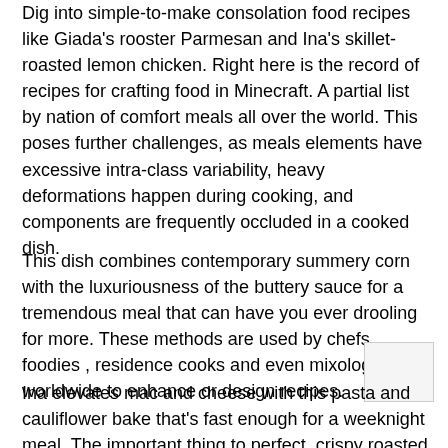Dig into simple-to-make consolation food recipes like Giada's rooster Parmesan and Ina's skillet-roasted lemon chicken. Right here is the record of recipes for crafting food in Minecraft. A partial list by nation of comfort meals all over the world. This poses further challenges, as meals elements have excessive intra-class variability, heavy deformations happen during cooking, and components are frequently occluded in a cooked dish.
This dish combines contemporary summery corn with the luxuriousness of the buttery sauce for a tremendous meal that can have you ever drooling for more. These methods are used by chefs , foodies , residence cooks and even mixologists worldwide to enhance or design recipes.
Ina elevates mac and cheese with this pasta and cauliflower bake that's fast enough for a weeknight meal. The important thing to perfect, crispy roasted potatoes lies within the